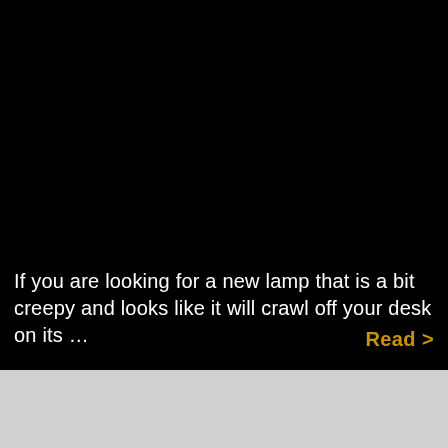[Figure (photo): Dark/black background image taking up the upper portion of the page, appearing nearly entirely black.]
If you are looking for a new lamp that is a bit creepy and looks like it will crawl off your desk on its …
Read >